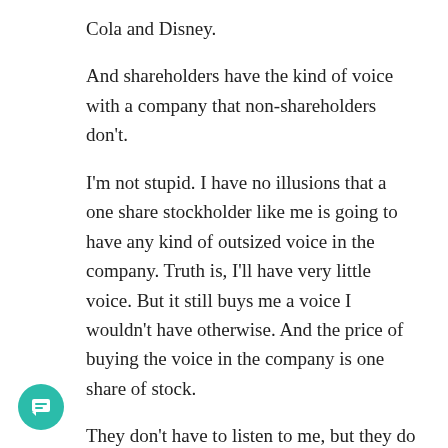Cola and Disney.
And shareholders have the kind of voice with a company that non-shareholders don't.
I'm not stupid. I have no illusions that a one share stockholder like me is going to have any kind of outsized voice in the company. Truth is, I'll have very little voice. But it still buys me a voice I wouldn't have otherwise. And the price of buying the voice in the company is one share of stock.
They don't have to listen to me, but they do have to let me speak. Owning a share grants me that much, anyway.
nd I will tell them, in no uncertain terms, that their anti-racist woke tomfoolery is stupid, harming the value